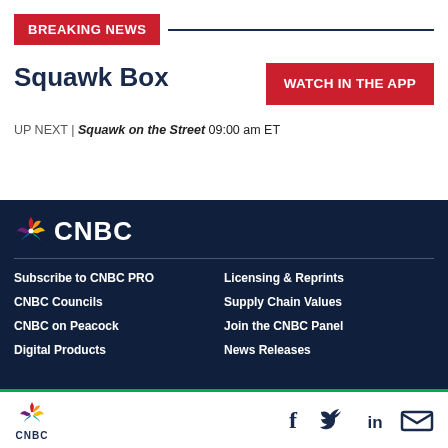BREAKING NEWS
Squawk Box
WATCH IN THE APP
UP NEXT | Squawk on the Street 09:00 am ET
[Figure (logo): CNBC logo with NBC peacock icon in white on dark navy background]
Subscribe to CNBC PRO
CNBC Councils
CNBC on Peacock
Digital Products
Licensing & Reprints
Supply Chain Values
Join the CNBC Panel
News Releases
CNBC logo with social media icons: Facebook, Twitter, LinkedIn, Email